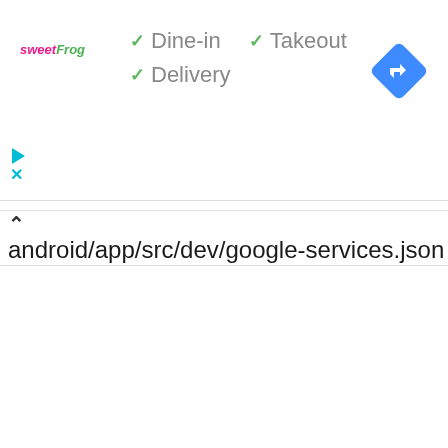[Figure (logo): sweetFrog logo in pink and green italic text]
✓ Dine-in  ✓ Takeout
✓ Delivery
[Figure (illustration): Blue diamond navigation/directions icon with right-turn arrow]
[Figure (illustration): Cyan play triangle and X icons on left side]
android/app/src/dev/google-services.json